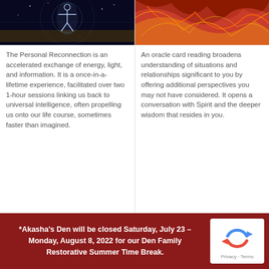[Figure (photo): Glowing human figure with outstretched arms against a dark cosmic background with grid lines]
[Figure (photo): Abstract swirling red, orange, and yellow fiber-like strands]
The Personal Reconnection is an accelerated exchange of energy, light, and information. It is a once-in-a-lifetime experience, facilitated over two 1-hour sessions linking us back to universal intelligence, often propelling us onto our life course, sometimes faster than imagined.
An oracle card reading broadens understanding of situations and relationships significant to you by offering additional perspectives you may not have considered. It opens a conversation with Spirit and the deeper wisdom that resides in you.
*Akasha's Den will be closed Saturday, July 23 – Monday, August 8, 2022 for our Den Family Restorative Summer Time Break.
[Figure (logo): reCAPTCHA logo with Privacy and Terms text]